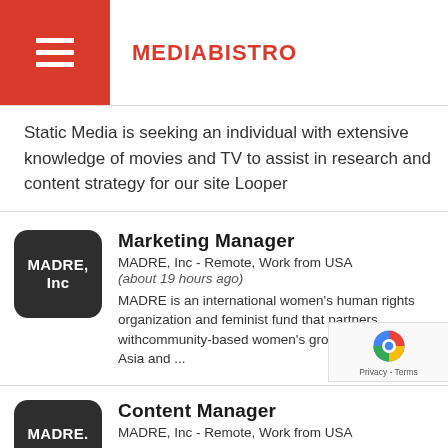MEDIABISTRO
Static Media is seeking an individual with extensive knowledge of movies and TV to assist in research and content strategy for our site Looper
Marketing Manager
MADRE, Inc - Remote, Work from USA
(about 19 hours ago)
MADRE is an international women's human rights organization and feminist fund that partners withcommunity-based women's groups in Africa, Asia and ...
Content Manager
MADRE, Inc - Remote, Work from USA